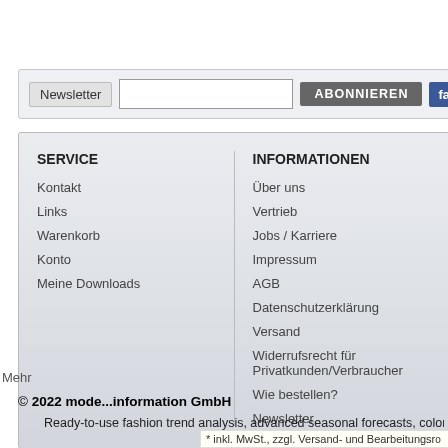EUR 55,14 (Netto)
EUR 59,00 *
EUR 668,...
EUR 959,...
Newsletter
ABONNIEREN
facebook
SERVICE
Kontakt
Links
Warenkorb
Konto
Meine Downloads
INFORMATIONEN
Über uns
Vertrieb
Jobs / Karriere
Impressum
AGB
Datenschutzerklärung
Versand
Widerrufsrecht für Privatkunden/Verbraucher
Wie bestellen?
Newsletter
Mehr
© 2022 mode...information GmbH
Ready-to-use fashion trend analysis, advanced seasonal forecasts, color direction analy...
* inkl. MwSt., zzgl. Versand- und Bearbeitungsro...